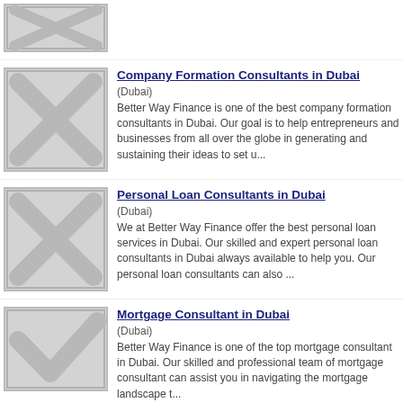[Figure (other): Placeholder image with grey X mark, partially visible at top]
[Figure (other): Placeholder image with grey X mark for Company Formation Consultants listing]
Company Formation Consultants in Dubai
(Dubai)
Better Way Finance is one of the best company formation consultants in Dubai. Our goal is to help entrepreneurs and businesses from all over the globe in generating and sustaining their ideas to set u...
[Figure (other): Placeholder image with grey X mark for Personal Loan Consultants listing]
Personal Loan Consultants in Dubai
(Dubai)
We at Better Way Finance offer the best personal loan services in Dubai. Our skilled and expert personal loan consultants in Dubai always available to help you. Our personal loan consultants can also ...
[Figure (other): Placeholder image with grey checkmark/V mark for Mortgage Consultant listing]
Mortgage Consultant in Dubai
(Dubai)
Better Way Finance is one of the top mortgage consultant in Dubai. Our skilled and professional team of mortgage consultant can assist you in navigating the mortgage landscape t...